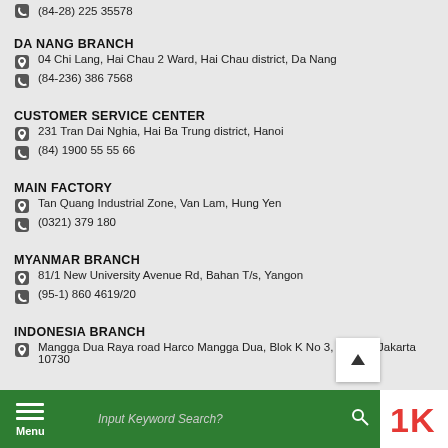(84-28) 225 35578
DA NANG BRANCH
04 Chi Lang, Hai Chau 2 Ward, Hai Chau district, Da Nang
(84-236) 386 7568
CUSTOMER SERVICE CENTER
231 Tran Dai Nghia, Hai Ba Trung district, Hanoi
(84) 1900 55 55 66
MAIN FACTORY
Tan Quang Industrial Zone, Van Lam, Hung Yen
(0321) 379 180
MYANMAR BRANCH
81/1 New University Avenue Rd, Bahan T/s, Yangon
(95-1) 860 4619/20
INDONESIA BRANCH
Mangga Dua Raya road Harco Mangga Dua, Blok K No 3, Sawah, Jakarta 10730
Menu  Input Keyword Search?